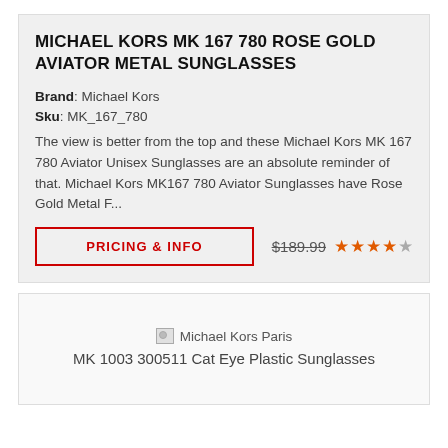MICHAEL KORS MK 167 780 ROSE GOLD AVIATOR METAL SUNGLASSES
Brand: Michael Kors
Sku: MK_167_780
The view is better from the top and these Michael Kors MK 167 780 Aviator Unisex Sunglasses are an absolute reminder of that. Michael Kors MK167 780 Aviator Sunglasses have Rose Gold Metal F...
PRICING & INFO
$189.99 ★★★★☆
[Figure (other): Broken image placeholder for Michael Kors Paris MK 1003 300511 Cat Eye Plastic Sunglasses]
Michael Kors Paris MK 1003 300511 Cat Eye Plastic Sunglasses